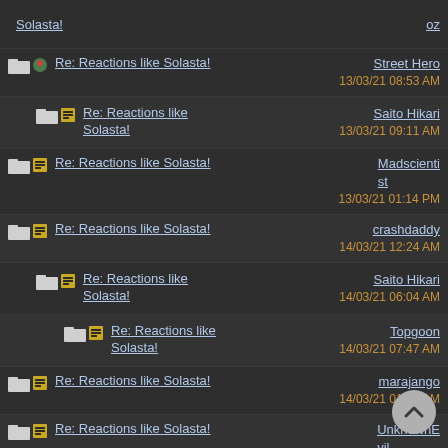Solasta! | oz
Re: Reactions like Solasta! | Street Hero | 13/03/21 08:53 AM
Re: Reactions like Solasta! | Saito Hikari | 13/03/21 09:11 AM
Re: Reactions like Solasta! | Madscientist | 13/03/21 01:14 PM
Re: Reactions like Solasta! | crashdaddy | 14/03/21 12:24 AM
Re: Reactions like Solasta! | Saito Hikari | 14/03/21 06:04 AM
Re: Reactions like Solasta! | Topgoon | 14/03/21 07:47 AM
Re: Reactions like Solasta! | marajango | 14/03/21 01:27 AM
Re: Reactions like Solasta! | UnknownEvil | 14/03/21 08:12 AM
Re: Reactions like Solasta! | Maximuuus | 14/03/21 10:59 AM
Re: Reactions like Solasta! | Dexai | 14/03/21 02:__ PM
Re: Reactions like Solasta! | mrfuji3 | 14/03/21 04:16 PM